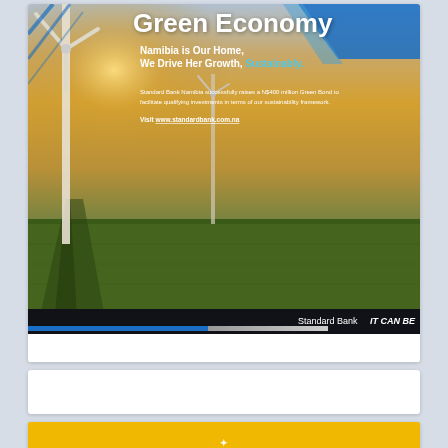[Figure (photo): Standard Bank Namibia advertisement showing wind turbines over green fields at sunset/golden hour, with text overlay promoting Green Economy and Green Bond. Blue diagonal stripe design element top right. Bottom bar with Standard Bank IT CAN BE. branding.]
Green Economy
Namibia is Our Home, We Drive Her Growth, Sustainably.
Standard Bank Namibia successfully raises a N$400 million Green Bond to facilitate qualifying investments in terms of our sustainability framework.
Visit www.standardbank.com.na
[Figure (photo): Partially visible second advertisement card (white background, content mostly blank).]
[Figure (photo): Partially visible third advertisement card with yellow/gold background, bottom of page.]